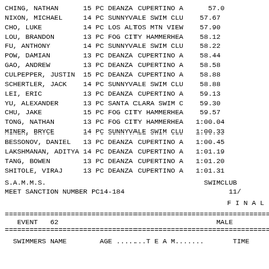| SWIMMERS NAME | AGE |  | TEAM | TIME |
| --- | --- | --- | --- | --- |
| CHING, NATHAN | 15 | PC | DEANZA CUPERTINO A | 57.0 |
| NIXON, MICHAEL | 14 | PC | SUNNYVALE SWIM CLU | 57.67 |
| CHO, LUKE | 14 | PC | LOS ALTOS MTN VIEW | 57.90 |
| LOU, BRANDON | 13 | PC | FOG CITY HAMMERHEA | 58.12 |
| FU, ANTHONY | 14 | PC | SUNNYVALE SWIM CLU | 58.22 |
| POW, DAMIAN | 13 | PC | DEANZA CUPERTINO A | 58.44 |
| GAO, ANDREW | 13 | PC | DEANZA CUPERTINO A | 58.58 |
| CULPEPPER, JUSTIN | 15 | PC | DEANZA CUPERTINO A | 58.88 |
| SCHERTLER, JACK | 14 | PC | SUNNYVALE SWIM CLU | 58.88 |
| LEI, ERIC | 13 | PC | DEANZA CUPERTINO A | 59.13 |
| YU, ALEXANDER | 13 | PC | SANTA CLARA SWIM C | 59.30 |
| CHU, JAKE | 15 | PC | FOG CITY HAMMERHEA | 59.57 |
| TONG, NATHAN | 13 | PC | FOG CITY HAMMERHEA | 1:00.04 |
| MINER, BRYCE | 14 | PC | SUNNYVALE SWIM CLU | 1:00.33 |
| BESSONOV, DANIEL | 13 | PC | DEANZA CUPERTINO A | 1:00.45 |
| LAKSHMANAN, ADITYA | 14 | PC | DEANZA CUPERTINO A | 1:01.19 |
| TANG, BOWEN | 13 | PC | DEANZA CUPERTINO A | 1:01.20 |
| SHITOLE, VIRAJ | 13 | PC | DEANZA CUPERTINO A | 1:01.31 |
S.A.M.M.S.                                          SWIMCLUB
MEET SANCTION NUMBER PC14-184                              11/
F I N A L
================================================================
EVENT   62                                            MALE
================================================================
SWIMMERS NAME        AGE .......T E A M.......        TIME